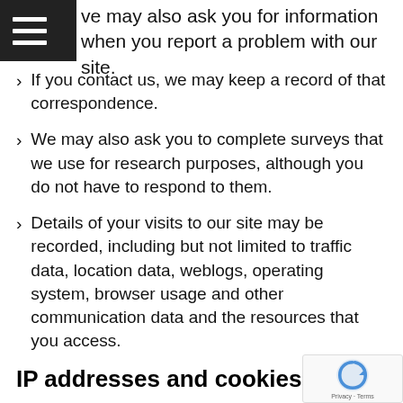ve may also ask you for information when you report a problem with our site.
If you contact us, we may keep a record of that correspondence.
We may also ask you to complete surveys that we use for research purposes, although you do not have to respond to them.
Details of your visits to our site may be recorded, including but not limited to traffic data, location data, weblogs, operating system, browser usage and other communication data and the resources that you access.
IP addresses and cookies
We may collect information about your computer,